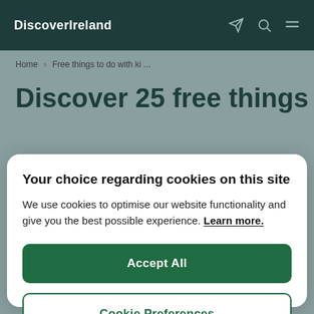DiscoverIreland
Home > Free things to do with ki ...
Discover 25 free things
Your choice regarding cookies on this site
We use cookies to optimise our website functionality and give you the best possible experience. Learn more.
Accept All
Cookie Preferences